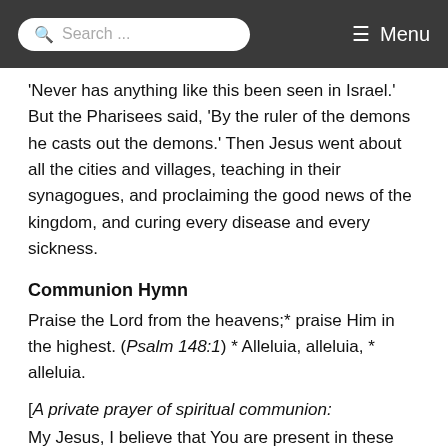Search ... Menu
'Never has anything like this been seen in Israel.' But the Pharisees said, 'By the ruler of the demons he casts out the demons.' Then Jesus went about all the cities and villages, teaching in their synagogues, and proclaiming the good news of the kingdom, and curing every disease and every sickness.
Communion Hymn
Praise the Lord from the heavens;* praise Him in the highest. (Psalm 148:1) * Alleluia, alleluia, * alleluia.
[A private prayer of spiritual communion:
My Jesus, I believe that You are present in these Holy Gifts!
I love You above all things and I desire to receive You